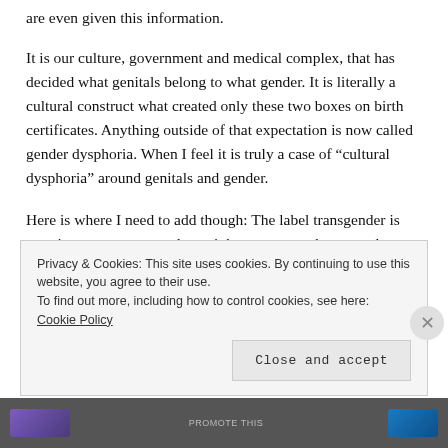are even given this information.
It is our culture, government and medical complex, that has decided what genitals belong to what gender. It is literally a cultural construct what created only these two boxes on birth certificates. Anything outside of that expectation is now called gender dysphoria. When I feel it is truly a case of “cultural dysphoria” around genitals and gender.
Here is where I need to add though: The label transgender is very important to our culture right now, so we have to take on the discrimination that us transgender people face very
Privacy & Cookies: This site uses cookies. By continuing to use this website, you agree to their use.
To find out more, including how to control cookies, see here: Cookie Policy
Close and accept